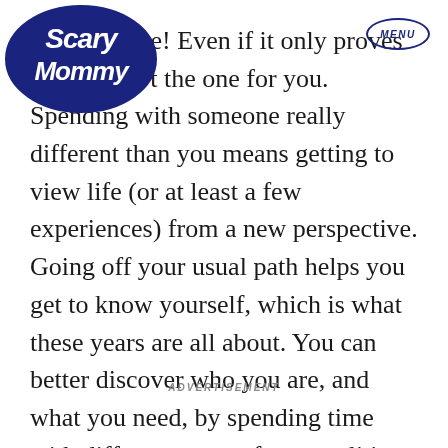[Figure (logo): Scary Mommy logo — blue handwritten-style text in a circular badge]
Go on a date! Even if it only proves you were n't the one for you. Spending with someone really different than you means getting to view life (or at least a few experiences) from a new perspective. Going off your usual path helps you get to know yourself, which is what these years are all about. You can better discover who you are, and what you need, by spending time with different types of personalities and seeing how they impact you.
ADVERTISEMENT